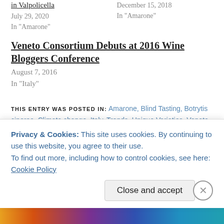in Valpolicella
July 29, 2020
In "Amarone"
December 15, 2018
In "Amarone"
Veneto Consortium Debuts at 2016 Wine Bloggers Conference
August 7, 2016
In "Italy"
THIS ENTRY WAS POSTED IN: Amarone, Blind Tasting, Botrytis cinerea, Climate change, Italy, Trends, Unique Varieties, Veneto, Volatile Acidity, Winemaking
TAGGED WITH: 2014 Amarone della Valpolicella, Accordini, Antiche Terre...
Privacy & Cookies: This site uses cookies. By continuing to use this website, you agree to their use. To find out more, including how to control cookies, see here: Cookie Policy
Close and accept